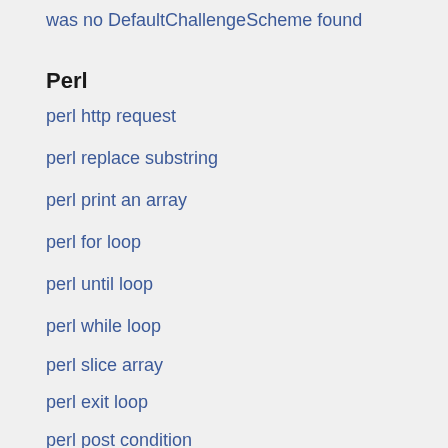was no DefaultChallengeScheme found
Perl
perl http request
perl replace substring
perl print an array
perl for loop
perl until loop
perl while loop
perl slice array
perl exit loop
perl post condition
Solidity
zero address solidity